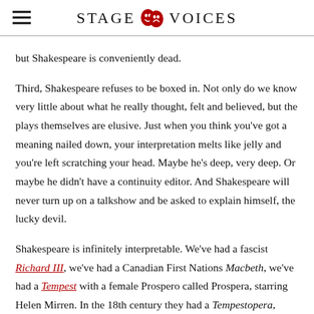STAGE VOICES
but Shakespeare is conveniently dead.
Third, Shakespeare refuses to be boxed in. Not only do we know very little about what he really thought, felt and believed, but the plays themselves are elusive. Just when you think you’ve got a meaning nailed down, your interpretation melts like jelly and you’re left scratching your head. Maybe he’s deep, very deep. Or maybe he didn’t have a continuity editor. And Shakespeare will never turn up on a talkshow and be asked to explain himself, the lucky devil.
Shakespeare is infinitely interpretable. We’ve had a fascist Richard III, we’ve had a Canadian First Nations Macbeth, we’ve had a Tempest with a female Prospero called Prospera, starring Helen Mirren. In the 18th century they had a Tempestopera, which used only a third of Shakespeare’s